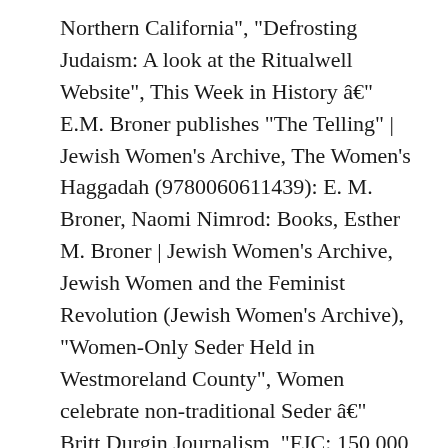Northern California", "Defrosting Judaism: A look at the Ritualwell Website", This Week in History — E.M. Broner publishes "The Telling" | Jewish Women's Archive, The Women's Haggadah (9780060611439): E. M. Broner, Naomi Nimrod: Books, Esther M. Broner | Jewish Women's Archive, Jewish Women and the Feminist Revolution (Jewish Women's Archive), "Women-Only Seder Held in Westmoreland County", Women celebrate non-traditional Seder — Britt Durgin Journalism, "FJC: 150,000 celebrate Passover at FJC sponsored Seders in the FSU", "WorldWide Religious News-Some Jews see trespass in Christian Seders", "Unitarian Universalists have diverse and inclusive beliefs", "How Three Jewish Junior Obama Staffers Brought The First Passover Seder to the White House", "Why Obama, a Christian, hosts a Passover seder each year at White House", "How is the White House Seder Different from All Others? My Jewish Learning is a